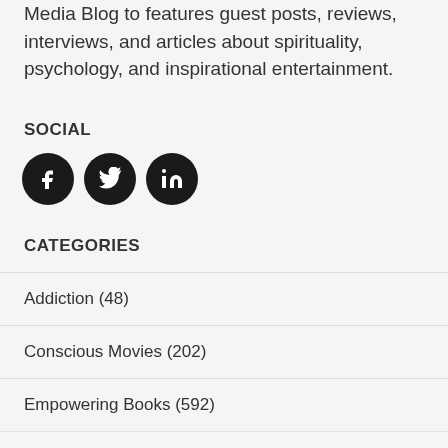Media Blog to features guest posts, reviews, interviews, and articles about spirituality, psychology, and inspirational entertainment.
SOCIAL
[Figure (other): Three circular social media icons: Facebook (f), Twitter (bird), LinkedIn (in)]
CATEGORIES
Addiction (48)
Conscious Movies (202)
Empowering Books (592)
Exclusive Interviews (334)